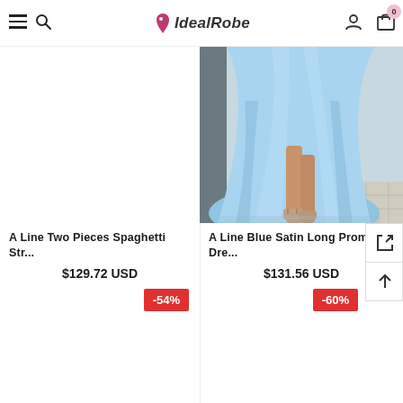IdealRobe
[Figure (photo): Left product slot showing white/empty area (product image scrolled out of view)]
A Line Two Pieces Spaghetti Str...
$129.72 USD
-54%
[Figure (photo): Light blue satin long prom dress photo showing flared skirt at floor level with heeled sandals visible]
A Line Blue Satin Long Prom Dre...
$131.56 USD
-60%